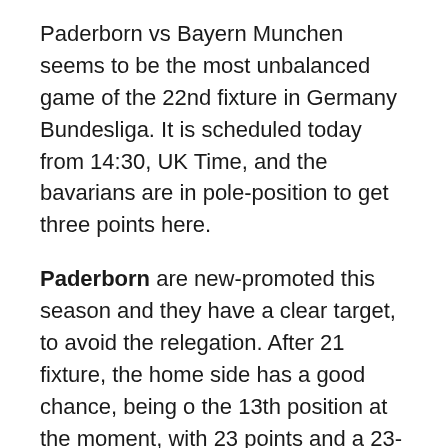Paderborn vs Bayern Munchen seems to be the most unbalanced game of the 22nd fixture in Germany Bundesliga. It is scheduled today from 14:30, UK Time, and the bavarians are in pole-position to get three points here.
Paderborn are new-promoted this season and they have a clear target, to avoid the relegation. After 21 fixture, the home side has a good chance, being o the 13th position at the moment, with 23 points and a 23-35 goal difference, two points over the red line. Paderborn will have two missing players, Ducksch and Bertels, both injured.
Bayern Munchen will be without Gaudino, Alcantara, Lahm and Javi Martinez, all four being injured or not 100% fit. Guardiola and his players are leading the table in Bundesliga, with 52 points out of 63 and the best goal